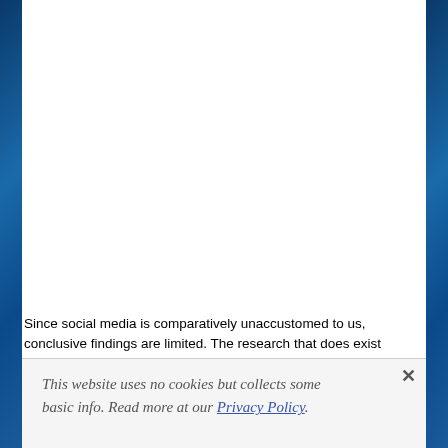Since social media is comparatively unaccustomed to us, conclusive findings are limited. The research that does exist mainly relies on self-reporting, which might often be flawed, and therefore the majority of studies concentrate on Facebook. That said, this can be a fast-growing area of research, and clues are getting down to emerge. BBC Future reviewed the findings of a number of the science so far:
This website uses no cookies but collects some basic info. Read more at our Privacy Policy.